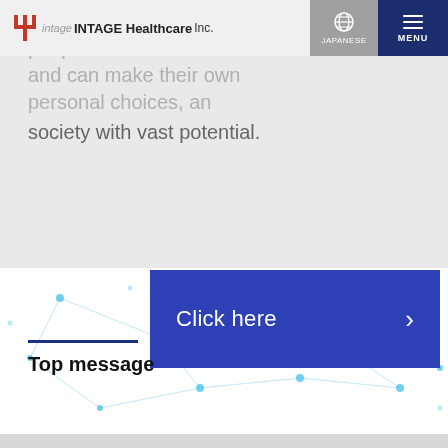INTAGE Healthcare Inc. — JAPANESE | MENU
and enable each and every people have lots and and can make their own personal choices, and society with vast potential.
Click here >
Top message